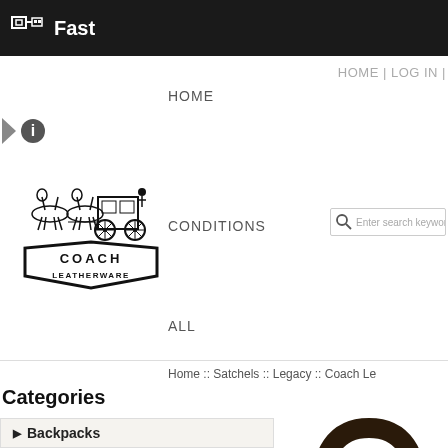Fast
HOME | LOG IN |
HOME
[Figure (logo): Coach Leatherware logo with horse-drawn carriage illustration above the text COACH LEATHERWARE in a badge/shield shape]
CONDITIONS
Enter search keywords here
ALL
Home :: Satchels :: Legacy :: Coach Le
Categories
▶ Backpacks
Bleecker
Classic
Legacy
▶ COACH 2015 NEW
[Figure (photo): Partial view of a dark brown Coach leather satchel handle/strap against white background]